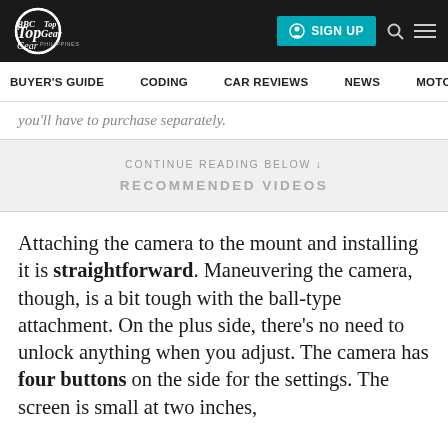TopGear Philippines | SIGN UP
BUYER'S GUIDE   CODING   CAR REVIEWS   NEWS   MOTORCY
you'll have to purchase separately.
CONTINUE READING BELOW ↓
RECOMMENDED VIDEOS
Attaching the camera to the mount and installing it is straightforward. Maneuvering the camera, though, is a bit tough with the ball-type attachment. On the plus side, there's no need to unlock anything when you adjust. The camera has four buttons on the side for the settings. The screen is small at two inches,